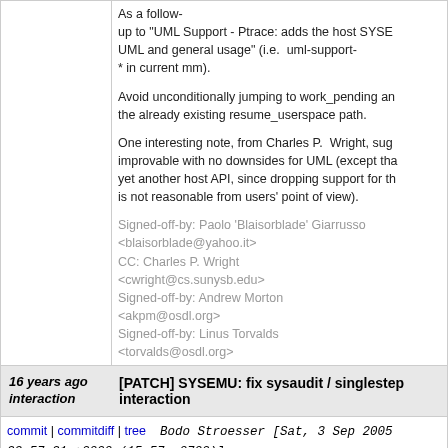As a follow-up to "UML Support - Ptrace: adds the host SYSE... UML and general usage" (i.e. uml-support-* in current mm).
Avoid unconditionally jumping to work_pending an... the already existing resume_userspace path.
One interesting note, from Charles P. Wright, sug... improvable with no downsides for UML (except tha... yet another host API, since dropping support for th... is not reasonable from users' point of view).
Signed-off-by: Paolo 'Blaisorblade' Giarrusso <blaisorblade@yahoo.it>
CC: Charles P. Wright <cwright@cs.sunysb.edu>
Signed-off-by: Andrew Morton <akpm@osdl.org>
Signed-off-by: Linus Torvalds <torvalds@osdl.org>
16 years ago interaction
[PATCH] SYSEMU: fix sysaudit / singlestep interaction
commit | commitdiff | tree   Bodo Stroesser [Sat, 3 Sep 2005 22:57:21 +0000 (15:57 -0700)]
[PATCH] SYSEMU: fix sysaudit / singlestep interac...